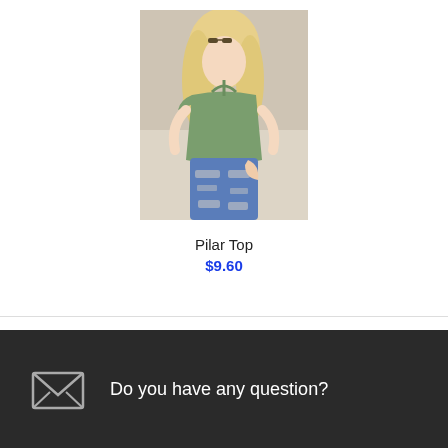[Figure (photo): A blonde woman wearing a sage green off-shoulder halter top and distressed blue jeans, with sunglasses on her head, posed against a light beige background.]
Pilar Top
$9.60
Do you have any question?